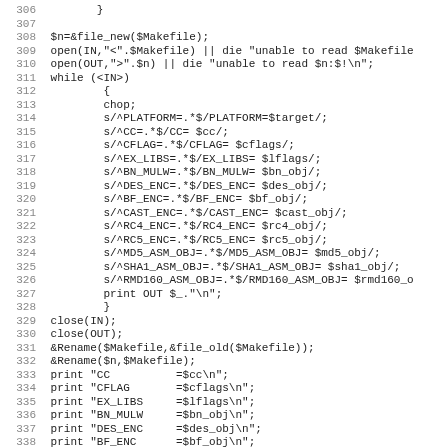Code listing lines 306-338, Perl script for Makefile processing
306    }
307
308 $n=&file_new($Makefile);
309 open(IN,"<".$Makefile) || die "unable to read $Makefile
310 open(OUT,">".$n) || die "unable to read $n:$!\n";
311 while (<IN>)
312         {
313         chop;
314         s/^PLATFORM=.*$/PLATFORM=$target/;
315         s/^CC=.*$/CC= $cc/;
316         s/^CFLAG=.*$/CFLAG= $cflags/;
317         s/^EX_LIBS=.*$/EX_LIBS= $lflags/;
318         s/^BN_MULW=.*$/BN_MULW= $bn_obj/;
319         s/^DES_ENC=.*$/DES_ENC= $des_obj/;
320         s/^BF_ENC=.*$/BF_ENC= $bf_obj/;
321         s/^CAST_ENC=.*$/CAST_ENC= $cast_obj/;
322         s/^RC4_ENC=.*$/RC4_ENC= $rc4_obj/;
323         s/^RC5_ENC=.*$/RC5_ENC= $rc5_obj/;
324         s/^MD5_ASM_OBJ=.*$/MD5_ASM_OBJ= $md5_obj/;
325         s/^SHA1_ASM_OBJ=.*$/SHA1_ASM_OBJ= $sha1_obj/;
326         s/^RMD160_ASM_OBJ=.*$/RMD160_ASM_OBJ= $rmd160_o
327         print OUT $_."\n";
328         }
329 close(IN);
330 close(OUT);
331 &Rename($Makefile,&file_old($Makefile));
332 &Rename($n,$Makefile);
333 print "CC          =$cc\n";
334 print "CFLAG       =$cflags\n";
335 print "EX_LIBS     =$lflags\n";
336 print "BN_MULW     =$bn_obj\n";
337 print "DES_ENC     =$des_obj\n";
338 print "BF_ENC      =$bf_obj\n";